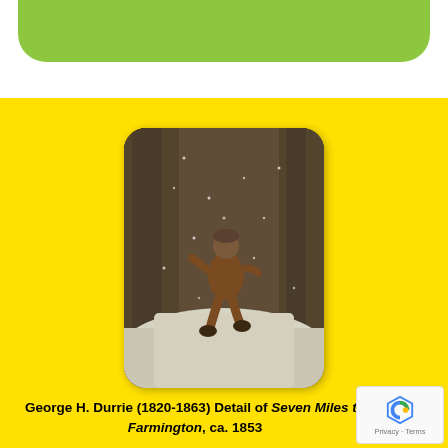[Figure (illustration): Green rounded bar/banner at the top of the page on a white background]
[Figure (photo): Detail of a painting showing a child in a brown coat walking through snow in a wooded area, with snow falling. George H. Durrie (1820-1863) detail of Seven Miles to Farmington, ca. 1853.]
George H. Durrie (1820-1863) Detail of Seven Miles to Farmington, ca. 1853